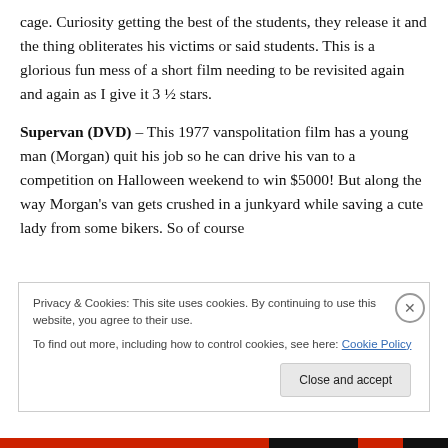cage. Curiosity getting the best of the students, they release it and the thing obliterates his victims or said students. This is a glorious fun mess of a short film needing to be revisited again and again as I give it 3 ½ stars.

Supervan (DVD) – This 1977 vanspolitation film has a young man (Morgan) quit his job so he can drive his van to a competition on Halloween weekend to win $5000! But along the way Morgan's van gets crushed in a junkyard while saving a cute lady from some bikers. So of course
Privacy & Cookies: This site uses cookies. By continuing to use this website, you agree to their use.
To find out more, including how to control cookies, see here: Cookie Policy
Close and accept